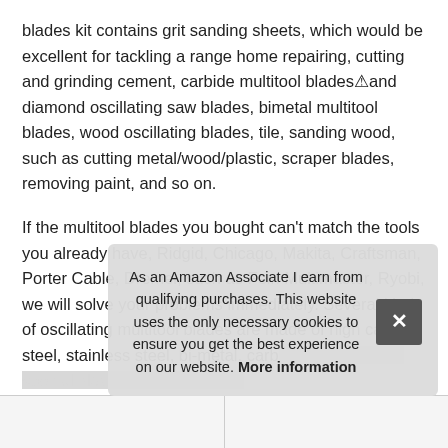blades kit contains grit sanding sheets, which would be excellent for tackling a range home repairing, cutting and grinding cement, carbide multitool blades and diamond oscillating saw blades, bimetal multitool blades, wood oscillating blades, tile, sanding wood, such as cutting metal/wood/plastic, scraper blades, removing paint, and so on.
If the multitool blades you bought can't match the tools you already have, Ridgid, Chicago, Makita, Craftsman, Porter Cable, Dremel, such as Fein Multimaster, Ryobi, we will solve your problems immediately. Several kinds of oscillating multitool blades are made of high carbon steel, stainless steel, bi-metal, carb[ide...] spe[cial...]
As an Amazon Associate I earn from qualifying purchases. This website uses the only necessary cookies to ensure you get the best experience on our website. More information